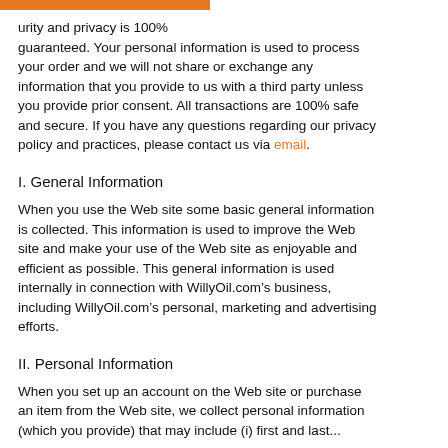...urity and privacy is 100% guaranteed. Your personal information is used to process your order and we will not share or exchange any information that you provide to us with a third party unless you provide prior consent. All transactions are 100% safe and secure. If you have any questions regarding our privacy policy and practices, please contact us via email.
I. General Information
When you use the Web site some basic general information is collected. This information is used to improve the Web site and make your use of the Web site as enjoyable and efficient as possible. This general information is used internally in connection with WillyOil.com’s business, including WillyOil.com’s personal, marketing and advertising efforts.
II. Personal Information
When you set up an account on the Web site or purchase an item from the Web site, we collect personal information (which you provide) that may include (i) first and last...